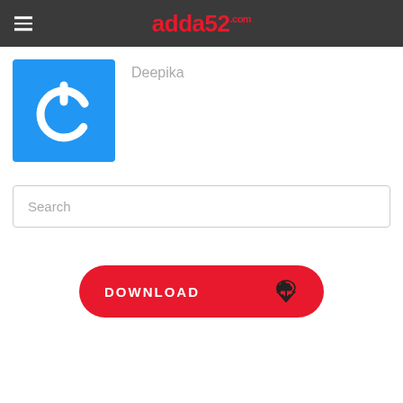adda52.com
[Figure (logo): Blue square with white power button icon (circular ring with top notch)]
Deepika
Search
DOWNLOAD